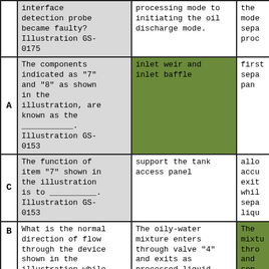|  | Question | Answer A | Answer B(partial) |
| --- | --- | --- | --- |
|  | interface detection probe became faulty? Illustration GS-0175 | processing mode to initiating the oil discharge mode. | the mode sepa proc |
| A | The components indicated as "7" and "8" as shown in the illustration, are known as the ___________. Illustration GS-0153 | inlet weir and inlet baffle | first sepa pan |
| C | The function of item "7" shown in the illustration is to ___________. Illustration GS-0153 | support the tank access panel | allo accu exit whil sepa liqu |
| B | What is the normal direction of flow through the device shown in the illustration while | The oily-water mixture enters through valve "4" and exits as processed liquid | The mixtu thro and sep |